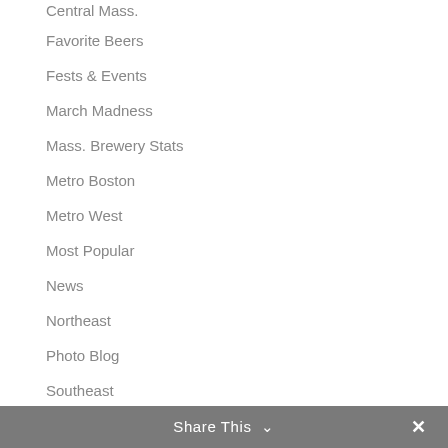Favorite Beers
Fests & Events
March Madness
Mass. Brewery Stats
Metro Boston
Metro West
Most Popular
News
Northeast
Photo Blog
Southeast
Spirits
Western Mass.
Share This ∨  ✕